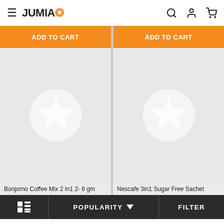JUMIA ☆
ADD TO CART | ADD TO CART
[Figure (screenshot): Bonjorno Coffee Mix 2in1 2- 6 gm product card with grey placeholder star icon on light grey background]
[Figure (screenshot): Nescafe 3in1 Sugar Free Sachet product card with grey placeholder star icon on light grey background]
Bonjorno Coffee Mix 2 in1 2- 6 gm
Nescafe 3in1 Sugar Free Sachet
POPULARITY ∨  FILTER
This website uses cookies. For further information on how we use cookies you can read our Privacy and Cookie notice